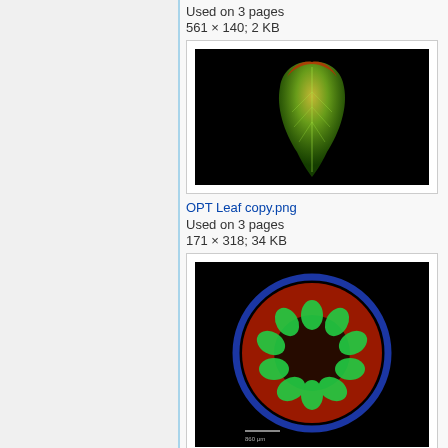Used on 3 pages
561 × 140; 2 KB
[Figure (photo): Fluorescence microscopy image of a leaf shown on black background with green and red/yellow coloring, leaf shape visible]
OPT Leaf copy.png
Used on 3 pages
171 × 318; 34 KB
[Figure (photo): Fluorescence microscopy cross-section image of a plant stem or flower on black background, showing circular arrangement of green ovules/seeds surrounded by red tissue with blue outer ring]
Cs0prxz0.png